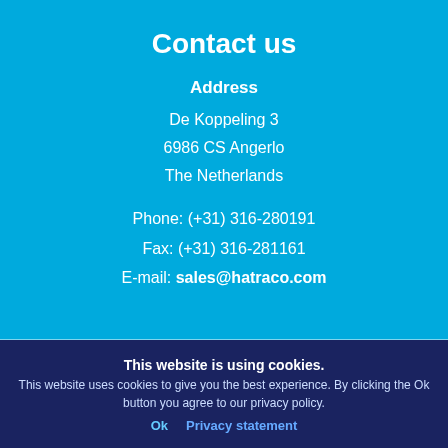Contact us
Address
De Koppeling 3
6986 CS Angerlo
The Netherlands
Phone: (+31) 316-280191
Fax: (+31) 316-281161
E-mail: sales@hatraco.com
This website is using cookies.
This website uses cookies to give you the best experience. By clicking the Ok button you agree to our privacy policy.
Ok   Privacy statement